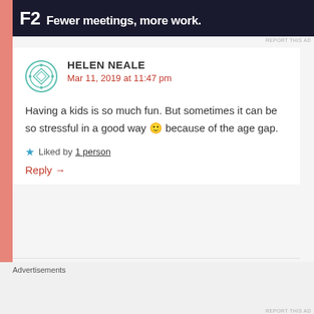[Figure (screenshot): Top advertisement banner with dark background, showing 'F2 Fewer meetings, more work.' text in white bold font]
REPORT THIS AD
[Figure (illustration): Circular avatar icon with geometric diamond/cross pattern in teal/green outline style]
HELEN NEALE
Mar 11, 2019 at 11:47 pm
Having a kids is so much fun. But sometimes it can be so stressful in a good way 🙂 because of the age gap.
★ Liked by 1 person
Reply →
Advertisements
[Figure (screenshot): DuckDuckGo advertisement banner with orange left section reading 'Search, browse, and email with more privacy. All in One Free App' and dark right section with DuckDuckGo duck logo]
REPORT THIS AD